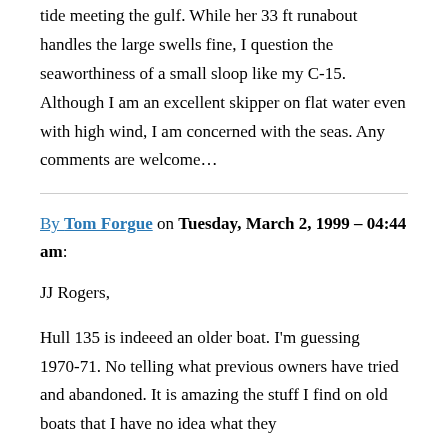tide meeting the gulf. While her 33 ft runabout handles the large swells fine, I question the seaworthiness of a small sloop like my C-15. Although I am an excellent skipper on flat water even with high wind, I am concerned with the seas. Any comments are welcome…
By Tom Forgue on Tuesday, March 2, 1999 – 04:44 am:
JJ Rogers,
Hull 135 is indeeed an older boat. I'm guessing 1970-71. No telling what previous owners have tried and abandoned. It is amazing the stuff I find on old boats that I have no idea what they are used for. The last entry on the inside of the